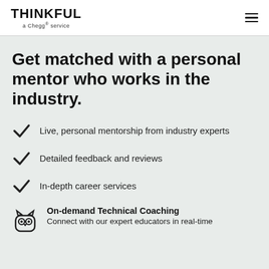THINKFUL a Chegg® service
Get matched with a personal mentor who works in the industry.
Live, personal mentorship from industry experts
Detailed feedback and reviews
In-depth career services
On-demand Technical Coaching
Connect with our expert educators in real-time